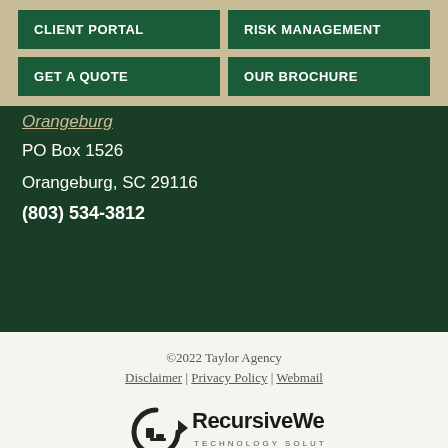CLIENT PORTAL
RISK MANAGEMENT
GET A QUOTE
OUR BROCHURE
Orangeburg
PO Box 1526
Orangeburg, SC 29116
(803) 534-3812
©2022 Taylor Agency
Disclaimer | Privacy Policy | Webmail
[Figure (logo): RecursiveWeb Technology Solutions logo with circular arrow icon]